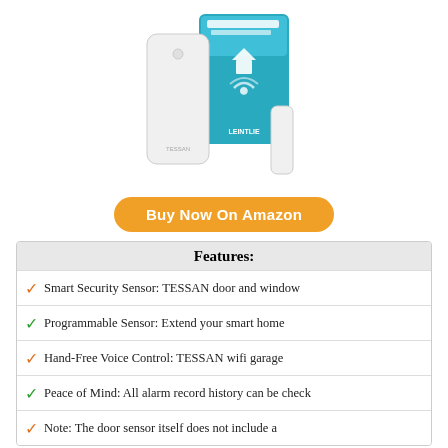[Figure (photo): TESSAN Door Window Sensor product photo showing white sensor device and product packaging box with blue background]
[Figure (other): Buy Now On Amazon orange pill-shaped button]
| Features: |
| --- |
| ✓ Smart Security Sensor: TESSAN door and window |
| ✓ Programmable Sensor: Extend your smart home |
| ✓ Hand-Free Voice Control: TESSAN wifi garage |
| ✓ Peace of Mind: All alarm record history can be check |
| ✓ Note: The door sensor itself does not include a |
8. SENGLED SMART WINDOW & DOOR SENSOR